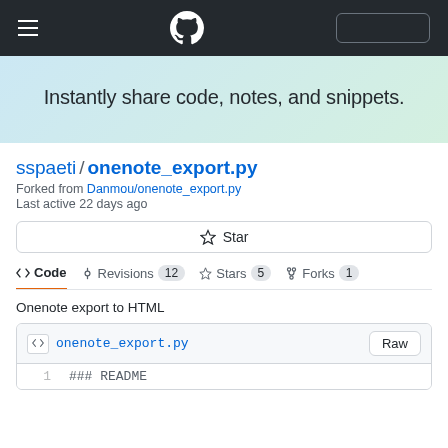GitHub navigation bar with hamburger menu, GitHub logo, and search box
Instantly share code, notes, and snippets.
sspaeti / onenote_export.py
Forked from Danmou/onenote_export.py
Last active 22 days ago
Star
<> Code  -o- Revisions 12  Star 5  Forks 1
Onenote export to HTML
onenote_export.py  Raw
1    ### README